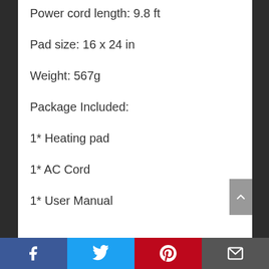Power cord length: 9.8 ft
Pad size: 16 x 24 in
Weight: 567g
Package Included:
1* Heating pad
1* AC Cord
1* User Manual
Facebook | Twitter | Pinterest | Email